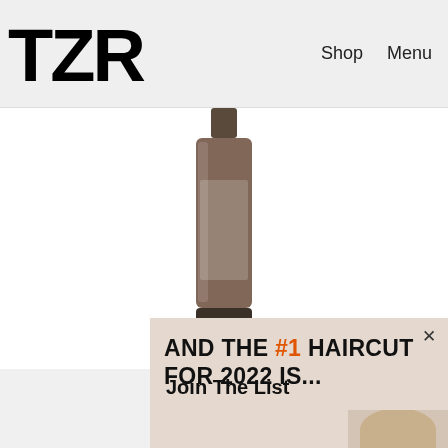TZR  Shop  Menu
[Figure (photo): Hair product bottle (dark glass cylinder) centered in upper portion of page]
[Figure (infographic): Beige/tan promo banner overlay with text 'AND THE #1 HAIRCUT FOR 2022 IS...' and partial woman face photo on right side, with X close button]
Aronica Sunsatio
Join The List
Sign up for TZR's exclusive email list to uncover this season's top trends
Email address  Subscribe